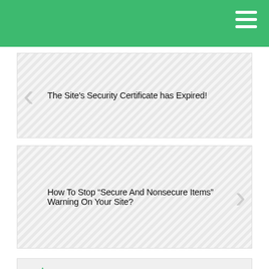[Figure (screenshot): Green top navigation bar with hamburger menu icon]
The Site’s Security Certificate has Expired!
How To Stop “Secure And Nonsecure Items” Warning On Your Site?
Try SSL Finder
SSL KB
Why ClickSSL?
SSL Renewals